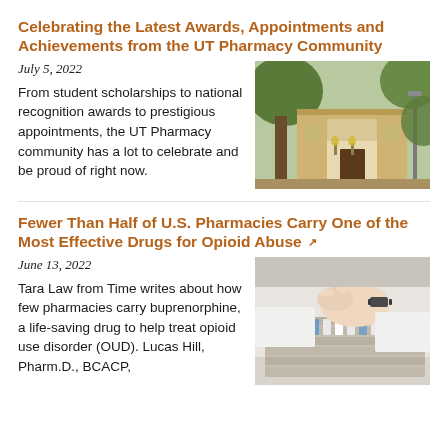Celebrating the Latest Awards, Appointments and Achievements from the UT Pharmacy Community
July 5, 2022
From student scholarships to national recognition awards to prestigious appointments, the UT Pharmacy community has a lot to celebrate and be proud of right now.
[Figure (photo): Exterior photo of a university building with classical architecture, brick facade, white stone entrance, and trees.]
Fewer Than Half of U.S. Pharmacies Carry One of the Most Effective Drugs for Opioid Abuse
June 13, 2022
Tara Law from Time writes about how few pharmacies carry buprenorphine, a life-saving drug to help treat opioid use disorder (OUD). Lucas Hill, Pharm.D., BCACP,
[Figure (photo): Close-up photo of hands in white coat handling medication vials in a pharmacy tray.]